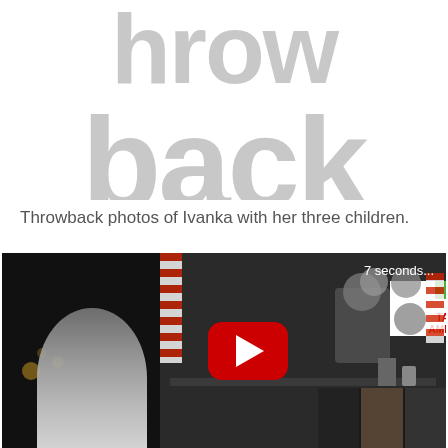[Figure (logo): Throwback logo in large grey bold text, showing 'throw' (partially cropped at top) and 'back' below it]
Throwback photos of Ivanka with her three children.
[Figure (screenshot): Video player screenshot showing a YouTube-style embedded video with a red play button in the center. The video shows a split scene: left side shows a dark background with a blonde person, right side shows a talk show set with a host, American flags, a white sign reading 'STATE IN AMERICA?', and various decorations. Timer shows '7 seconds...' in top right corner.]